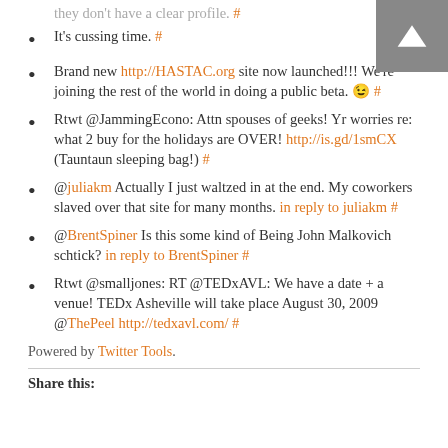they don't have a clear profile. #
It's cussing time. #
Brand new http://HASTAC.org site now launched!!! We're joining the rest of the world in doing a public beta. 😉 #
Rtwt @JammingEcono: Attn spouses of geeks! Yr worries re: what 2 buy for the holidays are OVER! http://is.gd/1smCX (Tauntaun sleeping bag!) #
@juliakm Actually I just waltzed in at the end. My coworkers slaved over that site for many months. in reply to juliakm #
@BrentSpiner Is this some kind of Being John Malkovich schtick? in reply to BrentSpiner #
Rtwt @smalljones: RT @TEDxAVL: We have a date + a venue! TEDx Asheville will take place August 30, 2009 @ThePeel http://tedxavl.com/ #
Powered by Twitter Tools.
Share this: